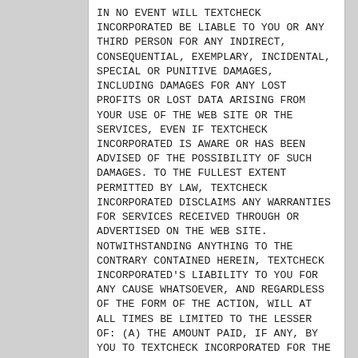IN NO EVENT WILL TEXTCHECK INCORPORATED BE LIABLE TO YOU OR ANY THIRD PERSON FOR ANY INDIRECT, CONSEQUENTIAL, EXEMPLARY, INCIDENTAL, SPECIAL OR PUNITIVE DAMAGES, INCLUDING DAMAGES FOR ANY LOST PROFITS OR LOST DATA ARISING FROM YOUR USE OF THE WEB SITE OR THE SERVICES, EVEN IF TEXTCHECK INCORPORATED IS AWARE OR HAS BEEN ADVISED OF THE POSSIBILITY OF SUCH DAMAGES. TO THE FULLEST EXTENT PERMITTED BY LAW, TEXTCHECK INCORPORATED DISCLAIMS ANY WARRANTIES FOR SERVICES RECEIVED THROUGH OR ADVERTISED ON THE WEB SITE. NOTWITHSTANDING ANYTHING TO THE CONTRARY CONTAINED HEREIN, TEXTCHECK INCORPORATED'S LIABILITY TO YOU FOR ANY CAUSE WHATSOEVER, AND REGARDLESS OF THE FORM OF THE ACTION, WILL AT ALL TIMES BE LIMITED TO THE LESSER OF: (A) THE AMOUNT PAID, IF ANY, BY YOU TO TEXTCHECK INCORPORATED FOR THE